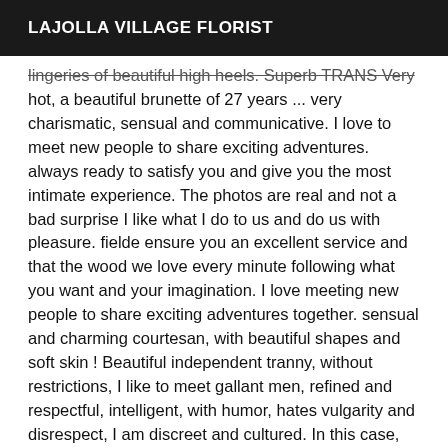LAJOLLA VILLAGE FLORIST
lingeries of beautiful high heels. Superb TRANS Very hot, a beautiful brunette of 27 years ... very charismatic, sensual and communicative. I love to meet new people to share exciting adventures. always ready to satisfy you and give you the most intimate experience. The photos are real and not a bad surprise I like what I do to us and do us with pleasure. fielde ensure you an excellent service and that the wood we love every minute following what you want and your imagination. I love meeting new people to share exciting adventures together. sensual and charming courtesan, with beautiful shapes and soft skin ! Beautiful independent tranny, without restrictions, I like to meet gallant men, refined and respectful, intelligent, with humor, hates vulgarity and disrespect, I am discreet and cultured. In this case, we show you suggests a moment of intimacy and relaxation in a harmonious atmosphere, an erotic exchange! Do not miss the opportunity of a different